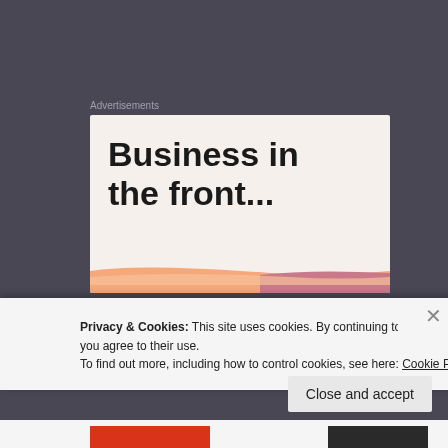Advertisements
[Figure (illustration): Advertisement banner with bold text 'Business in the front...' on a light beige background with a colorful stripe at the bottom (peach/orange and pink/mauve gradient stripe).]
compromising positions are in
the hands of the Sheriff and will
Privacy & Cookies: This site uses cookies. By continuing to use this website, you agree to their use.
To find out more, including how to control cookies, see here: Cookie Policy
Close and accept